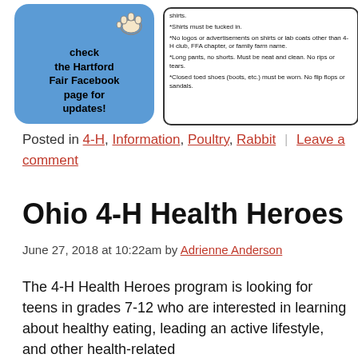[Figure (illustration): Blue rounded rectangle with bold text 'check the Hartford Fair Facebook page for updates!' and a paw print icon in top right corner]
[Figure (illustration): Rounded border box listing dress code rules: shirts must be tucked in, no logos or advertisements on shirts or lab coats other than 4-H club, FFA chapter, or family farm name, long pants no shorts must be neat and clean no rips or tears, closed toed shoes (boots, etc.) must be worn no flip flops or sandals.]
Posted in 4-H, Information, Poultry, Rabbit | Leave a comment
Ohio 4-H Health Heroes
June 27, 2018 at 10:22am by Adrienne Anderson
The 4-H Health Heroes program is looking for teens in grades 7-12 who are interested in learning about healthy eating, leading an active lifestyle, and other health-related